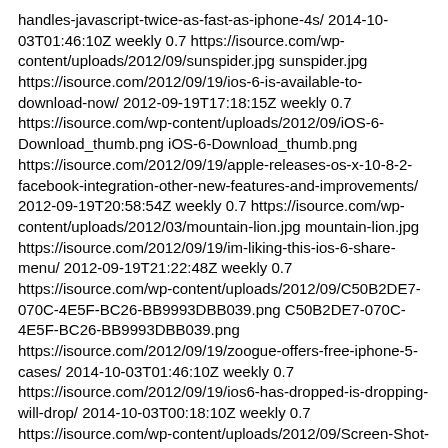handles-javascript-twice-as-fast-as-iphone-4s/ 2014-10-03T01:46:10Z weekly 0.7 https://isource.com/wp-content/uploads/2012/09/sunspider.jpg sunspider.jpg https://isource.com/2012/09/19/ios-6-is-available-to-download-now/ 2012-09-19T17:18:15Z weekly 0.7 https://isource.com/wp-content/uploads/2012/09/iOS-6-Download_thumb.png iOS-6-Download_thumb.png https://isource.com/2012/09/19/apple-releases-os-x-10-8-2-facebook-integration-other-new-features-and-improvements/ 2012-09-19T20:58:54Z weekly 0.7 https://isource.com/wp-content/uploads/2012/03/mountain-lion.jpg mountain-lion.jpg https://isource.com/2012/09/19/im-liking-this-ios-6-share-menu/ 2012-09-19T21:22:48Z weekly 0.7 https://isource.com/wp-content/uploads/2012/09/C50B2DE7-070C-4E5F-BC26-BB9993DBB039.png C50B2DE7-070C-4E5F-BC26-BB9993DBB039.png https://isource.com/2012/09/19/zoogue-offers-free-iphone-5-cases/ 2014-10-03T01:46:10Z weekly 0.7 https://isource.com/2012/09/19/ios6-has-dropped-is-dropping-will-drop/ 2014-10-03T00:18:10Z weekly 0.7 https://isource.com/wp-content/uploads/2012/09/Screen-Shot-2012-09-19-at-23.50.52.png Screen Shot 2012-09-19 at 23.50.52 http://isource.com/wp-content/uploads/2012/09/Screen-Shot-2012-09-19-at-22.40.37-600x169.png https://isource.com/2012/09/19/im-not-getting-the-iphone-5-on-friday-and-thats-ok-right/ 2014-10-03T01:46:10Z weekly 0.7 http://isource.com/wp-